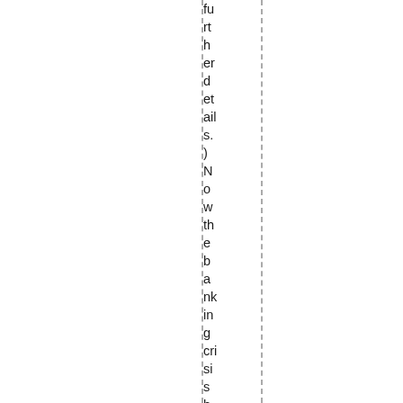further details.) Now the banking crisis has of course inter